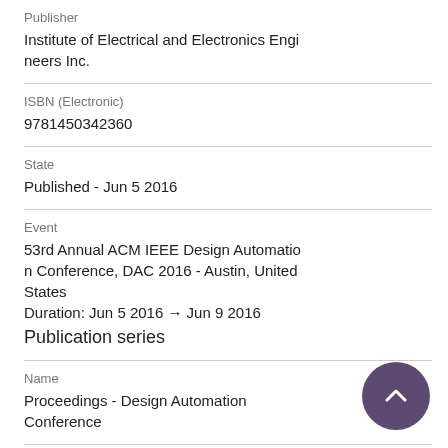Publisher
Institute of Electrical and Electronics Engineers Inc.
ISBN (Electronic)
9781450342360
State
Published - Jun 5 2016
Event
53rd Annual ACM IEEE Design Automation Conference, DAC 2016 - Austin, United States
Duration: Jun 5 2016 → Jun 9 2016
Publication series
Name
Proceedings - Design Automation Conference
Volume
05-09 June 2016